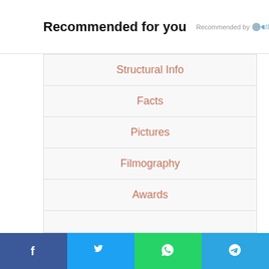Recommended for you  Recommended by Outbrain
Structural Info
Facts
Pictures
Filmography
Awards
Social share bar: Facebook, Twitter, WhatsApp, Telegram